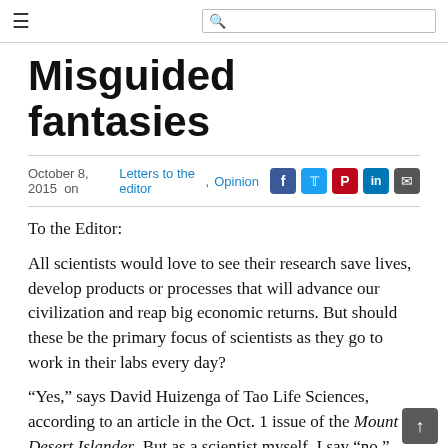≡  [search icon]
Misguided fantasies
October 8, 2015  on  Letters to the editor, Opinion
To the Editor:
All scientists would love to see their research save lives, develop products or processes that will advance our civilization and reap big economic returns. But should these be the primary focus of scientists as they go to work in their labs every day?
"Yes," says David Huizenga of Tao Life Sciences, according to an article in the Oct. 1 issue of the Mount Desert Islander. But as a scientist myself, I say "no."
The big scientific discoveries do not result because scientists are motivated to save lives or make money;